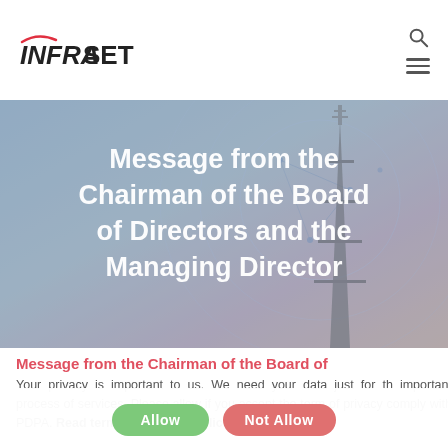INFRASET
[Figure (photo): Hero banner with background photo of a telecommunications tower against a sky with network circles overlay. Text overlay reads: Message from the Chairman of the Board of Directors and the Managing Director]
Message from the Chairman of the Board of Directors and the Managing Director
Message from the Chairman of the Board of
Your privacy is important to us. We need your data just for the important process of services. Please allow if you accept the term of privacy comply with PDPA. Read term and privacy polic
Allow | Not Allow